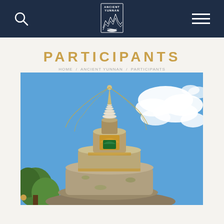Ancient Yunnan — Navigation bar with search icon, logo, and hamburger menu
PARTICIPANTS
[Figure (photo): Close-up photo of a Buddhist stupa against a blue sky with clouds. The stupa is made of stone with ornate golden decorations at the top, including hanging garlands. There are trees visible in the lower left background.]
Pagination dot indicator (first dot active)